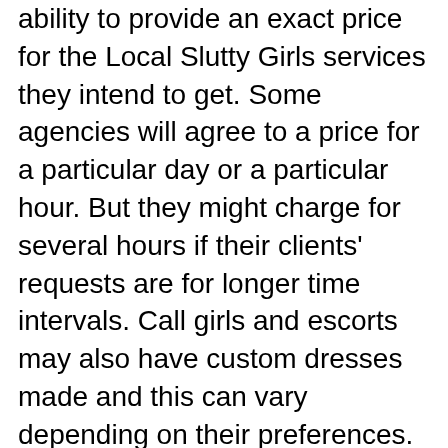ability to provide an exact price for the Local Slutty Girls services they intend to get. Some agencies will agree to a price for a particular day or a particular hour. But they might charge for several hours if their clients' requests are for longer time intervals. Call girls and escorts may also have custom dresses made and this can vary depending on their preferences.
Some can even ask that their clients buy them a brand new outfit every now and then. Occasionally, clients may dress their call girls themselves, DE but this can be